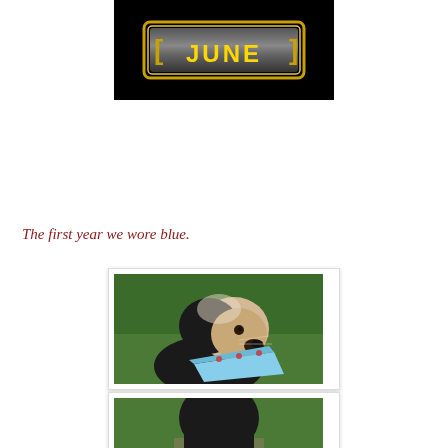[Figure (photo): Black banner with gold-bordered rectangle containing the word JUNE in bold gold letters on a metallic background]
The first year we wore blue.
[Figure (photo): A black and white dog (likely an Old English Sheepdog mix or Bernedoodle) wearing a light blue patterned bandana, sitting on green grass, looking upward]
[Figure (photo): Partial view of a dark-colored dog on a path surrounded by grass]